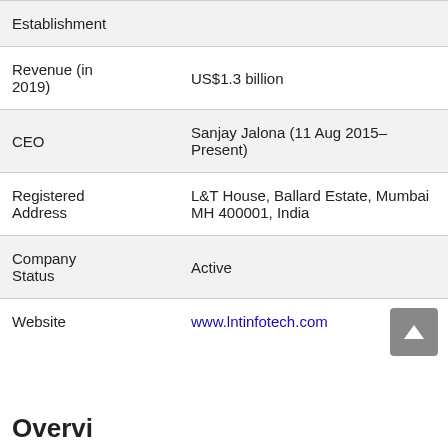| Field | Value |
| --- | --- |
| Establishment |  |
| Revenue (in 2019) | US$1.3 billion |
| CEO | Sanjay Jalona (11 Aug 2015–Present) |
| Registered Address | L&T House, Ballard Estate, Mumbai MH 400001, India |
| Company Status | Active |
| Website | www.lntinfotech.com |
Overview